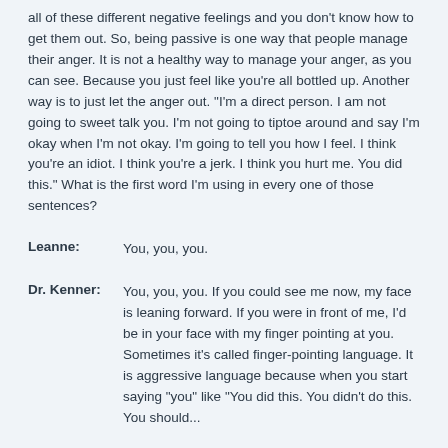all of these different negative feelings and you don't know how to get them out. So, being passive is one way that people manage their anger. It is not a healthy way to manage your anger, as you can see. Because you just feel like you're all bottled up. Another way is to just let the anger out. "I'm a direct person. I am not going to sweet talk you. I'm not going to tiptoe around and say I'm okay when I'm not okay. I'm going to tell you how I feel. I think you're an idiot. I think you're a jerk. I think you hurt me. You did this." What is the first word I'm using in every one of those sentences?
Leanne: You, you, you.
Dr. Kenner: You, you, you. If you could see me now, my face is leaning forward. If you were in front of me, I'd be in your face with my finger pointing at you. Sometimes it's called finger-pointing language. It is aggressive language because when you start saying "you" like "You did this. You didn't do this. You should...